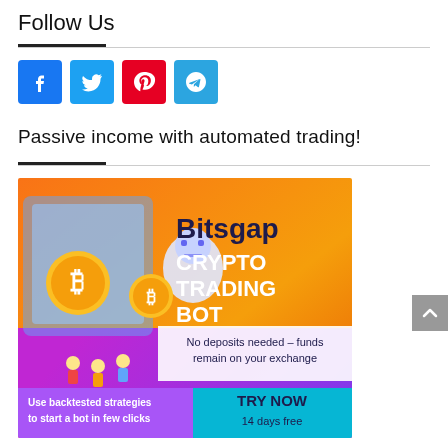Follow Us
[Figure (infographic): Social media icons: Facebook (blue), Twitter (light blue), Pinterest (red), Telegram (blue)]
Passive income with automated trading!
[Figure (infographic): Bitsgap Crypto Trading Bot advertisement banner. Orange/purple gradient background with cartoon robot, Bitcoin coins, and small figures. Text: Bitsgap CRYPTO TRADING BOT. No deposits needed – funds remain on your exchange. Use backtested strategies to start a bot in few clicks. TRY NOW 14 days free.]